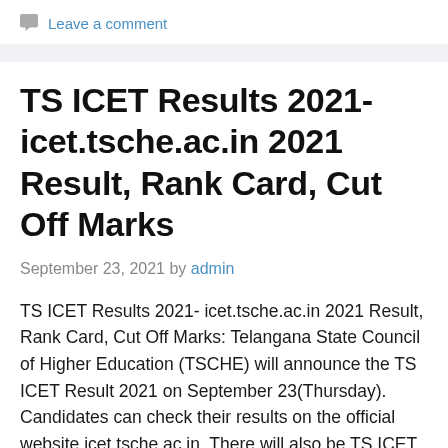Leave a comment
TS ICET Results 2021- icet.tsche.ac.in 2021 Result, Rank Card, Cut Off Marks
September 23, 2021 by admin
TS ICET Results 2021- icet.tsche.ac.in 2021 Result, Rank Card, Cut Off Marks: Telangana State Council of Higher Education (TSCHE) will announce the TS ICET Result 2021 on September 23(Thursday). Candidates can check their results on the official website icet.tsche.ac.in. There will also be TS ICET